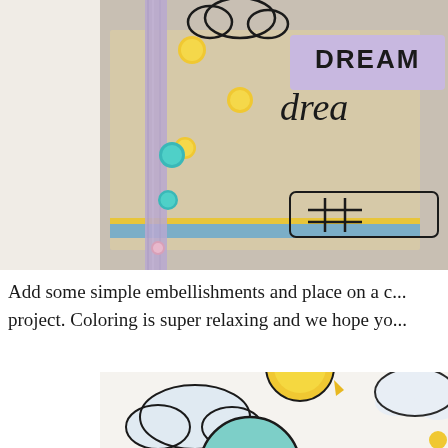[Figure (photo): Close-up photo of a craft card project with a purple/lavender label reading 'DREAM' and cursive 'drea', colorful enamel dots in yellow and teal, a purple ribbon, and cardstock layers in tan, yellow, and blue on a gray carpet background.]
Add some simple embellishments and place on a c... project. Coloring is super relaxing and we hope yo...
[Figure (photo): Close-up photo of a colored illustration showing cartoon sun, clouds, and a teal/green circular element on white textured paper, with black outlines and watercolor-style fills.]